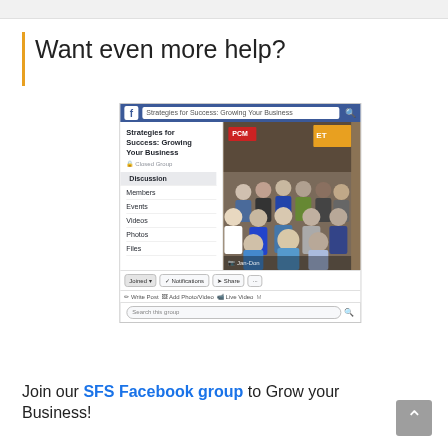Want even more help?
[Figure (screenshot): Facebook group page screenshot for 'Strategies for Success: Growing Your Business' showing the group header, navigation sidebar with Discussion, Members, Events, Videos, Photos, Files, a group photo of approximately 12 people in a store, and action buttons (Joined, Notifications, Share).]
Join our SFS Facebook group to Grow your Business!